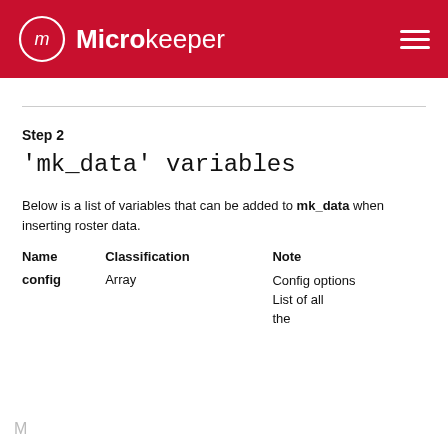Microkeeper
Step 2
'mk_data' variables
Below is a list of variables that can be added to mk_data when inserting roster data.
| Name | Classification | Note |
| --- | --- | --- |
| config | Array | Config options
List of all
the |